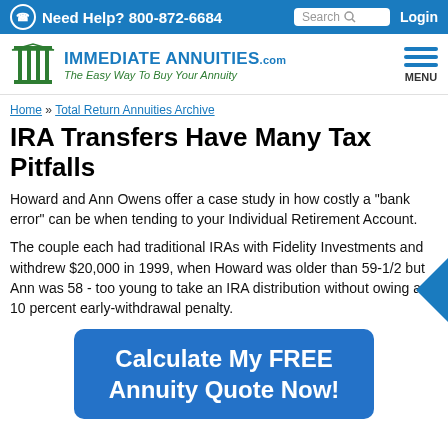Need Help? 800-872-6684  Search  Login
[Figure (logo): ImmediateAnnuities.com logo with Greek column icon and tagline 'The Easy Way To Buy Your Annuity']
Home » Total Return Annuities Archive
IRA Transfers Have Many Tax Pitfalls
Howard and Ann Owens offer a case study in how costly a "bank error" can be when tending to your Individual Retirement Account.
The couple each had traditional IRAs with Fidelity Investments and withdrew $20,000 in 1999, when Howard was older than 59-1/2 but Ann was 58 - too young to take an IRA distribution without owing a 10 percent early-withdrawal penalty.
Calculate My FREE Annuity Quote Now!